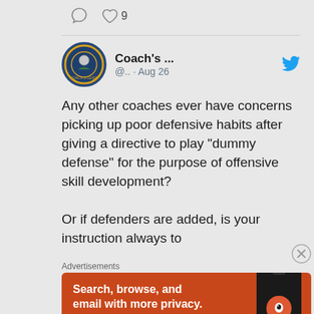[Figure (screenshot): Comment and heart icons at top of Twitter thread. Heart icon with count 9.]
[Figure (screenshot): Twitter/social media screenshot showing a tweet from 'Coach's ...' (@.. · Aug 26) with a circular logo avatar and blue Twitter bird icon. Tweet text: 'Any other coaches ever have concerns picking up poor defensive habits after giving a directive to play "dummy defense" for the purpose of offensive skill development?

Or if defenders are added, is your instruction always to']
Advertisements
[Figure (screenshot): DuckDuckGo advertisement banner in orange/red color. Text: 'Search, browse, and email with more privacy. All in One Free App' with DuckDuckGo logo and phone image.]